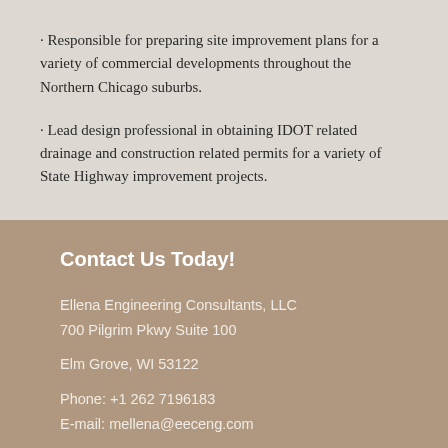· Responsible for preparing site improvement plans for a variety of commercial developments throughout the Northern Chicago suburbs.
· Lead design professional in obtaining IDOT related drainage and construction related permits for a variety of State Highway improvement projects.
Contact Us Today!
Ellena Engineering Consultants, LLC
700 Pilgrim Pkwy Suite 100

Elm Grove, WI 53122

Phone: +1 262 7196183
E-mail: mellena@eeceng.com